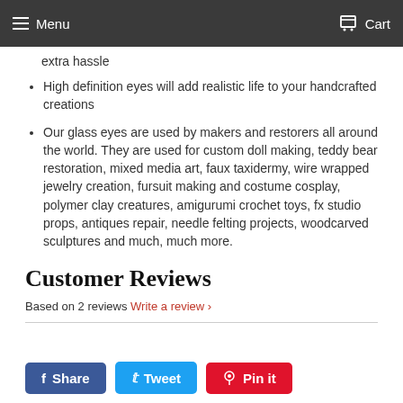Menu   Cart
extra hassle
High definition eyes will add realistic life to your handcrafted creations
Our glass eyes are used by makers and restorers all around the world. They are used for custom doll making, teddy bear restoration, mixed media art, faux taxidermy, wire wrapped jewelry creation, fursuit making and costume cosplay, polymer clay creatures, amigurumi crochet toys, fx studio props, antiques repair, needle felting projects, woodcarved sculptures and much, much more.
Customer Reviews
Based on 2 reviews Write a review ›